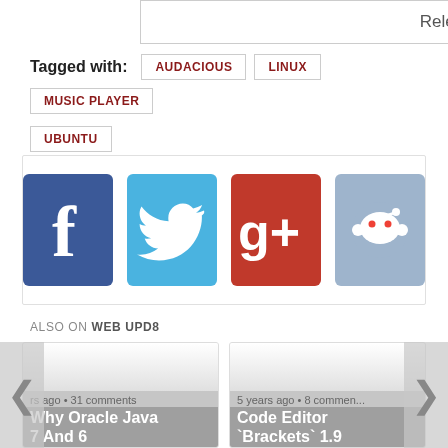Release
Tagged with: AUDACIOUS  LINUX  MUSIC PLAYER  UBUNTU
[Figure (screenshot): Social sharing buttons: Facebook, Twitter, Google+, Reddit]
ALSO ON WEB UPD8
rs ago • 31 comments
Why Oracle Java 7 And 6 Installers No...
5 years ago • 8 comments
Code Editor `Brackets` 1.9 Released...